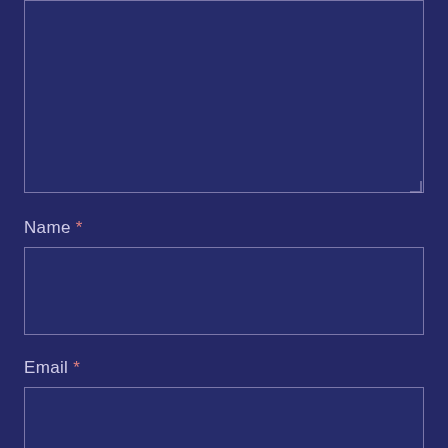[Figure (screenshot): Partial view of a web form with a large textarea (top, partially visible), followed by labeled input fields: Name (required), Email (required), and Website, each with an empty rectangular input box on a dark navy blue background.]
Name *
Email *
Website